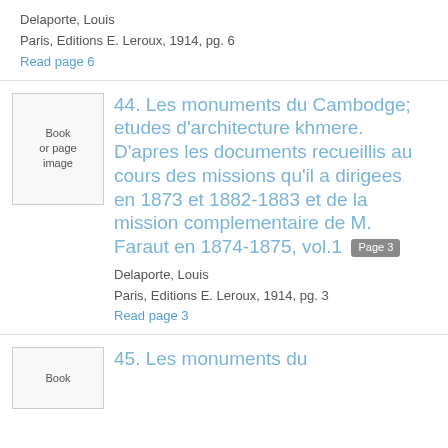Delaporte, Louis
Paris, Editions E. Leroux, 1914, pg. 6
Read page 6
[Figure (other): Book or page image thumbnail placeholder]
44. Les monuments du Cambodge; etudes d'architecture khmere. D'apres les documents recueillis au cours des missions qu'il a dirigees en 1873 et 1882-1883 et de la mission complementaire de M. Faraut en 1874-1875, vol.1 Page 3
Delaporte, Louis
Paris, Editions E. Leroux, 1914, pg. 3
Read page 3
[Figure (other): Book or page image thumbnail placeholder]
45. Les monuments du